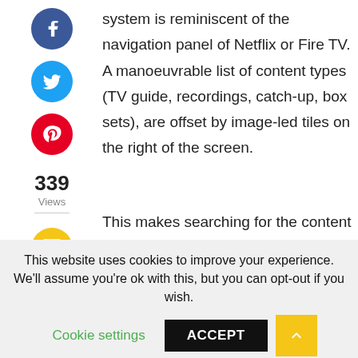system is reminiscent of the navigation panel of Netflix or Fire TV. A manoeuvrable list of content types (TV guide, recordings, catch-up, box sets), are offset by image-led tiles on the right of the screen.
339 Views
This makes searching for the content that you want more immersive, engaging and less text-heavy. It's a notable and
This website uses cookies to improve your experience. We'll assume you're ok with this, but you can opt-out if you wish.